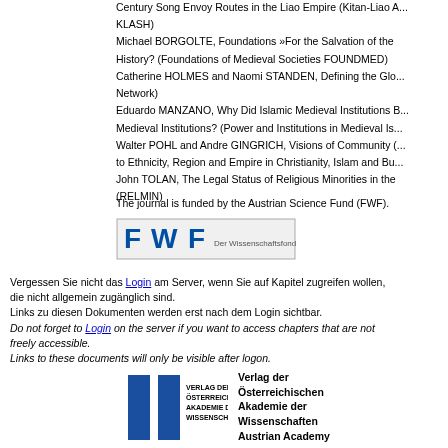Century Song Envoy Routes in the Liao Empire (Kitan-Liao A... KLASH) Michael BORGOLTE, Foundations »For the Salvation of the History? (Foundations of Medieval Societies FOUNDMED) Catherine HOLMES and Naomi STANDEN, Defining the Glo... Network) Eduardo MANZANO, Why Did Islamic Medieval Institutions B... Medieval Institutions? (Power and Institutions in Medieval Is... Walter POHL and Andre GINGRICH, Visions of Community (... to Ethnicity, Region and Empire in Christianity, Islam and Bu... John TOLAN, The Legal Status of Religious Minorities in the (RELMIN)
The journal is funded by the Austrian Science Fund (FWF).
[Figure (logo): FWF Der Wissenschaftsfonds logo]
Vergessen Sie nicht das Login am Server, wenn Sie auf Kapitel zugreifen wollen, die nicht allgemein zugänglich sind. Links zu diesen Dokumenten werden erst nach dem Login sichtbar. Do not forget to Login on the server if you want to access chapters that are not freely accessible. Links to these documents will only be visible after logon.
[Figure (logo): Verlag der Österreichischen Akademie der Wissenschaften logo with two blue rectangles and text]